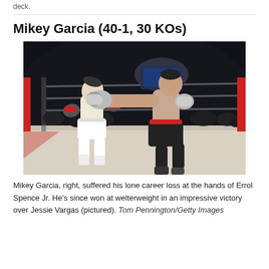deck.
Mikey Garcia (40-1, 30 KOs)
[Figure (photo): Boxing match photo: Mikey Garcia (right) landing a punch on Jessie Vargas. Arena setting with ring ropes visible and crowd in background. Dark arena lighting.]
Mikey Garcia, right, suffered his lone career loss at the hands of Errol Spence Jr. He's since won at welterweight in an impressive victory over Jessie Vargas (pictured). Tom Pennington/Getty Images